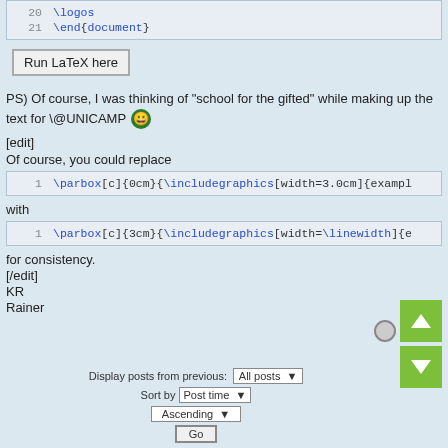[Figure (screenshot): Code block showing lines 20-21: \logos and \end{document}]
Run LaTeX here
PS) Of course, I was thinking of "school for the gifted" while making up the text for \@UNICAMP 😀
[edit]
Of course, you could replace
[Figure (screenshot): Code block line 1: \parbox[c]{0cm}{\includegraphics[width=3.0cm]{exampl]
with
[Figure (screenshot): Code block line 1: \parbox[c]{3cm}{\includegraphics[width=\linewidth]{e]
for consistency.
[/edit]
KR
Rainer
Display posts from previous: All posts ▼
Sort by Post time ▼
Ascending ▼
Go